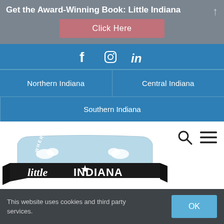Get the Award-Winning Book: Little Indiana
Click Here
[Figure (infographic): Social media icons: Facebook (f), Instagram (camera), LinkedIn (in)]
Northern Indiana | Central Indiana
Southern Indiana
[Figure (logo): Little Indiana logo — 'little INDIANA' text on black ribbon banner with 'WHERE TO STAY, PLAY AND EAT' arch text on light blue background]
This website uses cookies and third party services.